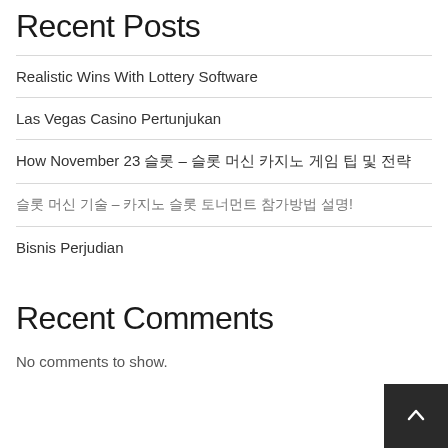Recent Posts
Realistic Wins With Lottery Software
Las Vegas Casino Pertunjukan
How November 23 슬롯 – 슬롯 머신 카지노 게임 팁 및 전략
슬롯 머신 기술 – 카지노 슬롯 토너먼트 참가방법 설명!
Bisnis Perjudian
Recent Comments
No comments to show.